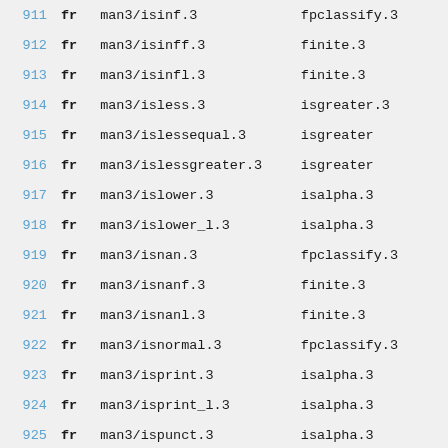| # | lang | path | ref |
| --- | --- | --- | --- |
| 911 | fr | man3/isinf.3 | fpclassify.3 |
| 912 | fr | man3/isinff.3 | finite.3 |
| 913 | fr | man3/isinfl.3 | finite.3 |
| 914 | fr | man3/isless.3 | isgreater.3 |
| 915 | fr | man3/islessequal.3 | isgreater... |
| 916 | fr | man3/islessgreater.3 | isgreater... |
| 917 | fr | man3/islower.3 | isalpha.3 |
| 918 | fr | man3/islower_l.3 | isalpha.3... |
| 919 | fr | man3/isnan.3 | fpclassify.3 |
| 920 | fr | man3/isnanf.3 | finite.3 |
| 921 | fr | man3/isnanl.3 | finite.3 |
| 922 | fr | man3/isnormal.3 | fpclassify.3 |
| 923 | fr | man3/isprint.3 | isalpha.3 |
| 924 | fr | man3/isprint_l.3 | isalpha.3... |
| 925 | fr | man3/ispunct.3 | isalpha.3 |
| 926 | fr | man3/ispunct_l.3 | isalpha.3... |